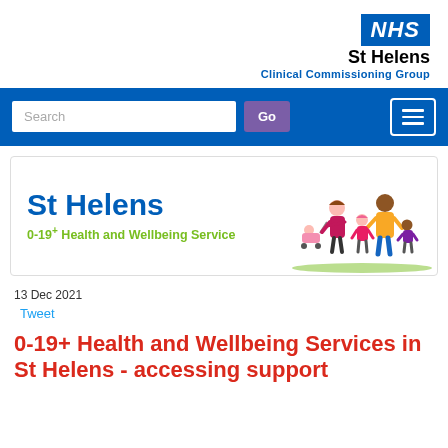[Figure (logo): NHS logo with St Helens Clinical Commissioning Group text]
[Figure (infographic): St Helens 0-19+ Health and Wellbeing Service banner with family illustration]
13 Dec 2021
Tweet
0-19+ Health and Wellbeing Services in St Helens - accessing support